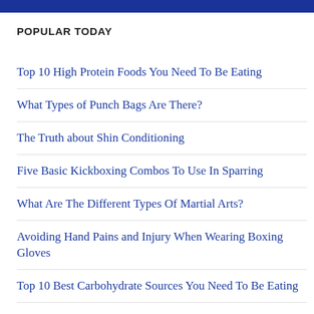POPULAR TODAY
Top 10 High Protein Foods You Need To Be Eating
What Types of Punch Bags Are There?
The Truth about Shin Conditioning
Five Basic Kickboxing Combos To Use In Sparring
What Are The Different Types Of Martial Arts?
Avoiding Hand Pains and Injury When Wearing Boxing Gloves
Top 10 Best Carbohydrate Sources You Need To Be Eating